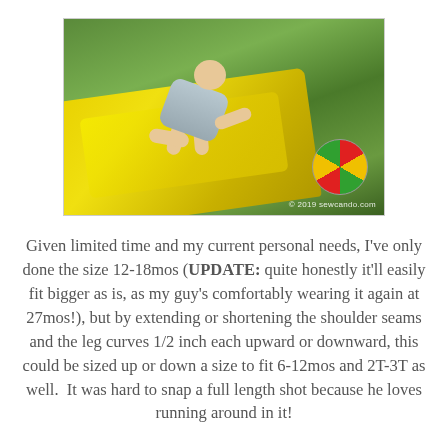[Figure (photo): A toddler climbing on a yellow plastic slide outdoors on green grass. A colorful beach ball is visible to the right. Watermark reads '© 2019 sewcando.com'.]
Given limited time and my current personal needs, I've only done the size 12-18mos (UPDATE: quite honestly it'll easily fit bigger as is, as my guy's comfortably wearing it again at 27mos!), but by extending or shortening the shoulder seams and the leg curves 1/2 inch each upward or downward, this could be sized up or down a size to fit 6-12mos and 2T-3T as well.  It was hard to snap a full length shot because he loves running around in it!